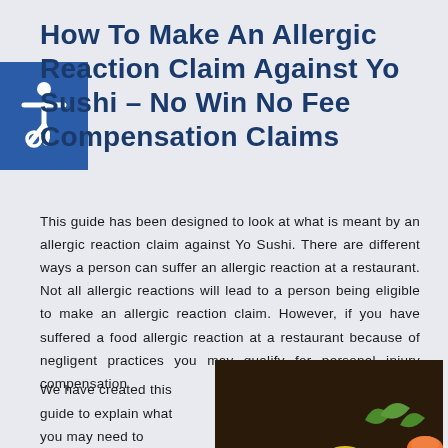How To Make An Allergic Reaction Claim Against Yo Sushi – No Win No Fee Compensation Claims
This guide has been designed to look at what is meant by an allergic reaction claim against Yo Sushi. There are different ways a person can suffer an allergic reaction at a restaurant. Not all allergic reactions will lead to a person being eligible to make an allergic reaction claim. However, if you have suffered a food allergic reaction at a restaurant because of negligent practices you may qualify for personal injury compensation
We have created this guide to explain what you may need to know to make an allergic reaction claim
[Figure (photo): Close-up photo of various sushi pieces including salmon, tuna, and maki rolls with garnishes]